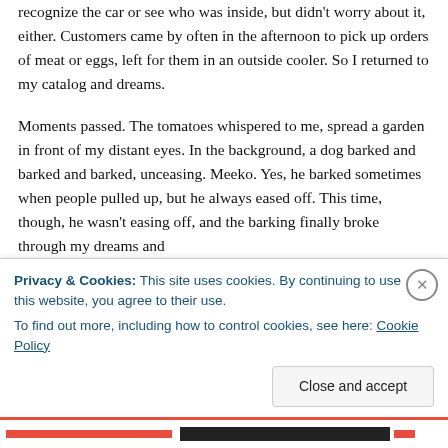recognize the car or see who was inside, but didn't worry about it, either. Customers came by often in the afternoon to pick up orders of meat or eggs, left for them in an outside cooler. So I returned to my catalog and dreams.
Moments passed. The tomatoes whispered to me, spread a garden in front of my distant eyes. In the background, a dog barked and barked and barked, unceasing. Meeko. Yes, he barked sometimes when people pulled up, but he always eased off. This time, though, he wasn't easing off, and the barking finally broke through my dreams and brought me to the surface, to another glance out the
Privacy & Cookies: This site uses cookies. By continuing to use this website, you agree to their use.
To find out more, including how to control cookies, see here: Cookie Policy
Close and accept